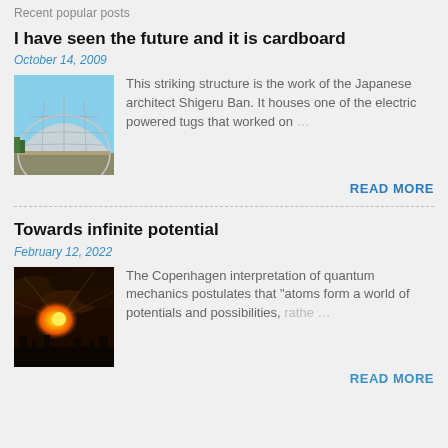Recent popular posts
I have seen the future and it is cardboard
October 14, 2009
[Figure (photo): A large arched structure with a glass and steel dome roof, resembling a warehouse or hangar building]
This striking structure is the work of the Japanese architect Shigeru Ban. It houses one of the electric powered tugs that worked on ...
READ MORE
Towards infinite potential
February 12, 2022
[Figure (photo): Dramatic sunset sky with sun breaking through dark storm clouds over a silhouetted cityscape]
The Copenhagen interpretation of quantum mechanics postulates that "atoms form a world of potentials and possibilities, rathe ...
READ MORE